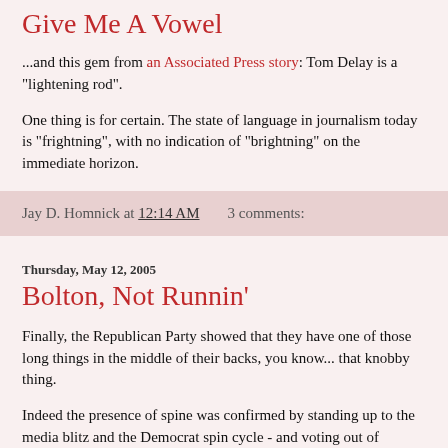Give Me A Vowel
...and this gem from an Associated Press story: Tom Delay is a "lightening rod".
One thing is for certain. The state of language in journalism today is "frightning", with no indication of "brightning" on the immediate horizon.
Jay D. Homnick at 12:14 AM   3 comments:
Thursday, May 12, 2005
Bolton, Not Runnin'
Finally, the Republican Party showed that they have one of those long things in the middle of their backs, you know... that knobby thing.
Indeed the presence of spine was confirmed by standing up to the media blitz and the Democrat spin cycle - and voting out of